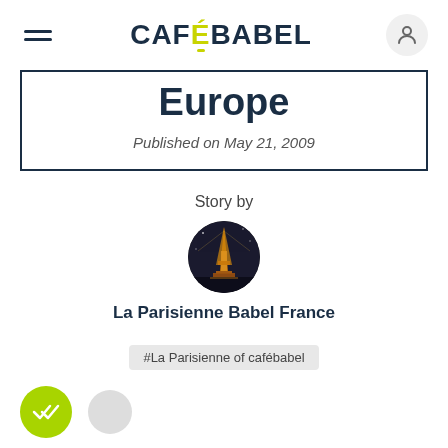CAFEBABEL
Europe
Published on May 21, 2009
Story by
[Figure (photo): Circular author avatar showing Eiffel Tower lit up at night]
La Parisienne Babel France
#La Parisienne of cafébabel